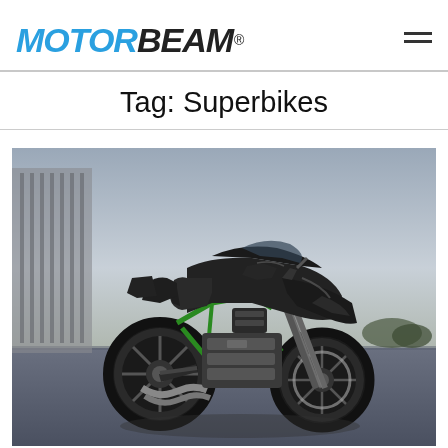MOTORBEAM
Tag: Superbikes
[Figure (photo): A Kawasaki Ninja H2R supercharged superbike photographed from a low rear-three-quarter angle in a dramatic outdoor setting. The motorcycle features dark carbon fiber bodywork, green frame accents, and large spoke wheels. The background shows a modern building and overcast sky.]